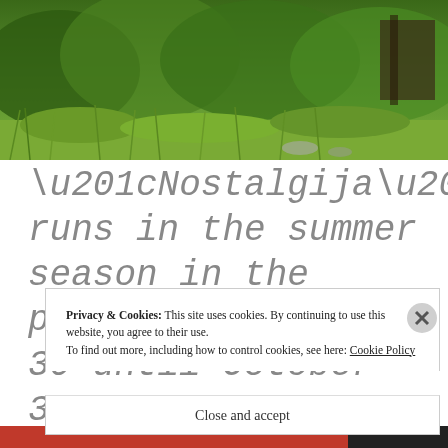[Figure (photo): Outdoor nature photo showing green shrubs, grass and vegetation with some dark wooden structure in the background]
“Nostalgija” runs in the summer season in the period from March 30 until October 31, 2019
Privacy & Cookies: This site uses cookies. By continuing to use this website, you agree to their use. To find out more, including how to control cookies, see here: Cookie Policy
Close and accept